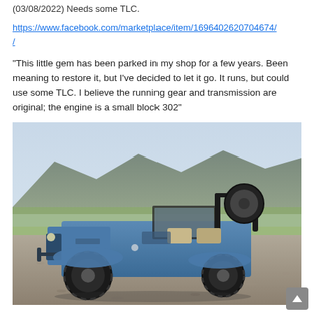(03/08/2022) Needs some TLC.
https://www.facebook.com/marketplace/item/1696402620704674/
“This little gem has been parked in my shop for a few years. Been meaning to restore it, but I’ve decided to let it go. It runs, but could use some TLC. I believe the running gear and transmission are original; the engine is a small block 302”
[Figure (photo): A vintage blue Willys Jeep parked on a gravel lot with mountains and open fields in the background. The jeep has no doors, a spare tire mounted on the rear roll bar, and shows signs of aging and wear.]